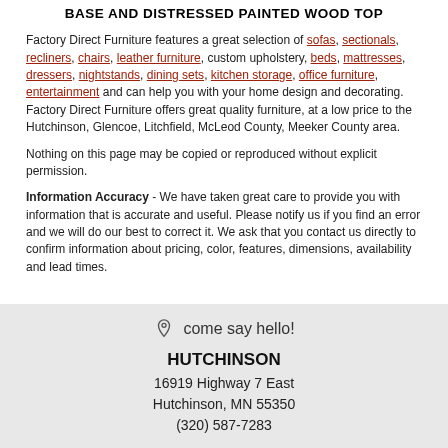BASE AND DISTRESSED PAINTED WOOD TOP
Factory Direct Furniture features a great selection of sofas, sectionals, recliners, chairs, leather furniture, custom upholstery, beds, mattresses, dressers, nightstands, dining sets, kitchen storage, office furniture, entertainment and can help you with your home design and decorating. Factory Direct Furniture offers great quality furniture, at a low price to the Hutchinson, Glencoe, Litchfield, McLeod County, Meeker County area.
Nothing on this page may be copied or reproduced without explicit permission.
Information Accuracy - We have taken great care to provide you with information that is accurate and useful. Please notify us if you find an error and we will do our best to correct it. We ask that you contact us directly to confirm information about pricing, color, features, dimensions, availability and lead times.
come say hello!
HUTCHINSON
16919 Highway 7 East
Hutchinson, MN 55350
(320) 587-7283